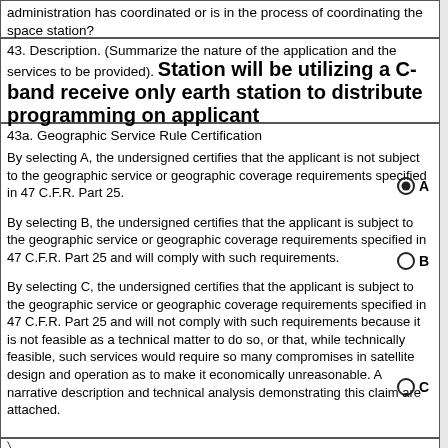administration has coordinated or is in the process of coordinating the space station?
43. Description. (Summarize the nature of the application and the services to be provided). Station will be utilizing a C-band receive only earth station to distribute programming on applicant
43a. Geographic Service Rule Certification
By selecting A, the undersigned certifies that the applicant is not subject to the geographic service or geographic coverage requirements specified in 47 C.F.R. Part 25.

By selecting B, the undersigned certifies that the applicant is subject to the geographic service or geographic coverage requirements specified in 47 C.F.R. Part 25 and will comply with such requirements.

By selecting C, the undersigned certifies that the applicant is subject to the geographic service or geographic coverage requirements specified in 47 C.F.R. Part 25 and will not comply with such requirements because it is not feasible as a technical matter to do so, or that, while technically feasible, such services would require so many compromises in satellite design and operation as to make it economically unreasonable. A narrative description and technical analysis demonstrating this claim are attached.